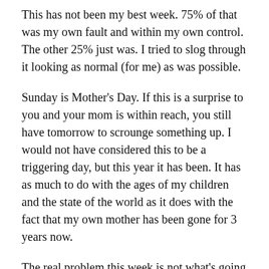This has not been my best week. 75% of that was my own fault and within my own control. The other 25% just was. I tried to slog through it looking as normal (for me) as was possible.
Sunday is Mother's Day. If this is a surprise to you and your mom is within reach, you still have tomorrow to scrounge something up. I would not have considered this to be a triggering day, but this year it has been. It has as much to do with the ages of my children and the state of the world as it does with the fact that my own mother has been gone for 3 years now.
The real problem this week is not what's going on around me. It's that I went into it unprepared. There are a lot of quick moving storms that go just fine in a 14' skiff. But if you try to ride one out on the upside of a sheet of cardboard, you'll have a different experience.
The last few weeks I've been riding the cardboard. But